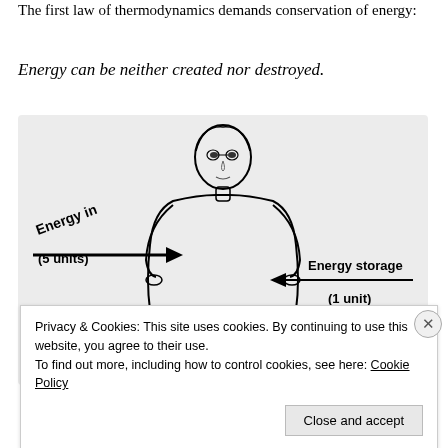The first law of thermodynamics demands conservation of energy:
Energy can be neither created nor destroyed.
[Figure (illustration): Illustration of a person showing energy flow: an arrow pointing right labeled 'Energy in (5 units)' and an arrow pointing left to the person labeled 'Energy storage (1 unit)'.]
Privacy & Cookies: This site uses cookies. By continuing to use this website, you agree to their use.
To find out more, including how to control cookies, see here: Cookie Policy
Close and accept